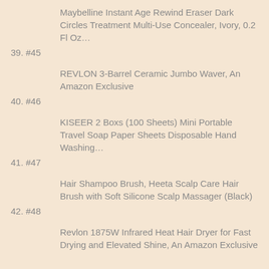Maybelline Instant Age Rewind Eraser Dark Circles Treatment Multi-Use Concealer, Ivory, 0.2 Fl Oz…
39. #45
REVLON 3-Barrel Ceramic Jumbo Waver, An Amazon Exclusive
40. #46
KISEER 2 Boxs (100 Sheets) Mini Portable Travel Soap Paper Sheets Disposable Hand Washing…
41. #47
Hair Shampoo Brush, Heeta Scalp Care Hair Brush with Soft Silicone Scalp Massager (Black)
42. #48
Revlon 1875W Infrared Heat Hair Dryer for Fast Drying and Elevated Shine, An Amazon Exclusive